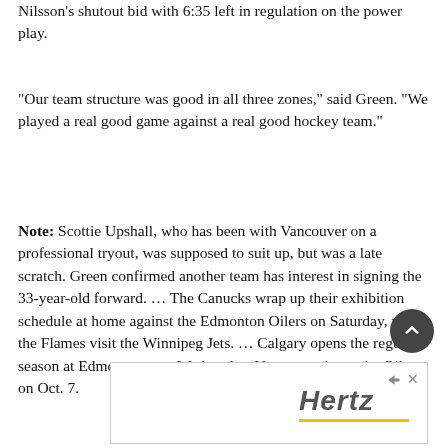Nilsson's shutout bid with 6:35 left in regulation on the power play.
“Our team structure was good in all three zones,” said Green. "We played a real good game against a real good hockey team."
Note: Scottie Upshall, who has been with Vancouver on a professional tryout, was supposed to suit up, but was a late scratch. Green confirmed another team has interest in signing the 33-year-old forward. … The Canucks wrap up their exhibition schedule at home against the Edmonton Oilers on Saturday, while the Flames visit the Winnipeg Jets. … Calgary opens the regular season at Edmonton next Wednesday. Vancouver hosts the Oilers on Oct. 7.
[Figure (other): Hertz advertisement banner with close button]